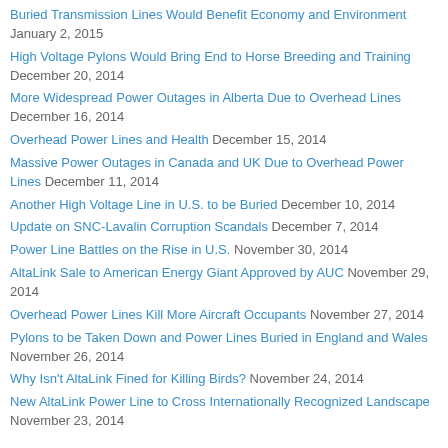Buried Transmission Lines Would Benefit Economy and Environment January 2, 2015
High Voltage Pylons Would Bring End to Horse Breeding and Training December 20, 2014
More Widespread Power Outages in Alberta Due to Overhead Lines December 16, 2014
Overhead Power Lines and Health December 15, 2014
Massive Power Outages in Canada and UK Due to Overhead Power Lines December 11, 2014
Another High Voltage Line in U.S. to be Buried December 10, 2014
Update on SNC-Lavalin Corruption Scandals December 7, 2014
Power Line Battles on the Rise in U.S. November 30, 2014
AltaLink Sale to American Energy Giant Approved by AUC November 29, 2014
Overhead Power Lines Kill More Aircraft Occupants November 27, 2014
Pylons to be Taken Down and Power Lines Buried in England and Wales November 26, 2014
Why Isn't AltaLink Fined for Killing Birds? November 24, 2014
New AltaLink Power Line to Cross Internationally Recognized Landscape November 23, 2014